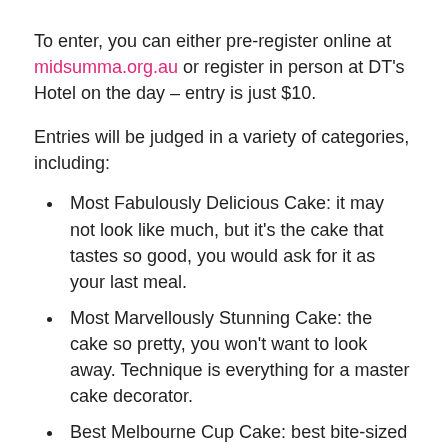To enter, you can either pre-register online at midsumma.org.au or register in person at DT's Hotel on the day – entry is just $10.
Entries will be judged in a variety of categories, including:
Most Fabulously Delicious Cake: it may not look like much, but it's the cake that tastes so good, you would ask for it as your last meal.
Most Marvellously Stunning Cake: the cake so pretty, you won't want to look away. Technique is everything for a master cake decorator.
Best Melbourne Cup Cake: best bite-sized sweets – a mouthful is all you need.
Queerest Concoction: unleash your queer genes and let your imagination run wild for this category.
Perfect Pastry: a brand new category for the